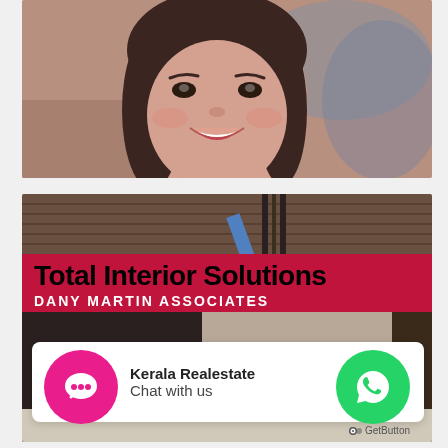[Figure (photo): Close-up photo of a smiling young woman with dark hair, blurred background]
[Figure (photo): Interior design / kitchen showroom photo with 'Total Interior Solutions' banner overlay and 'DANY MARTIN ASSOCIATES' text]
Total Interior Solutions
DANY MARTIN ASSOCIATES
[Figure (logo): Kerala Realestate logo — building icon with 'lla Estate' text]
Kerala Realestate
Chat with us
[Figure (illustration): Pink circular chat button with three dots]
[Figure (illustration): Green circular WhatsApp button icon]
GetButton